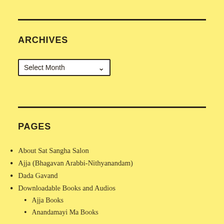ARCHIVES
Select Month
PAGES
About Sat Sangha Salon
Ajja (Bhagavan Arabbi-Nithyanandam)
Dada Gavand
Downloadable Books and Audios
Ajja Books
Anandamayi Ma Books